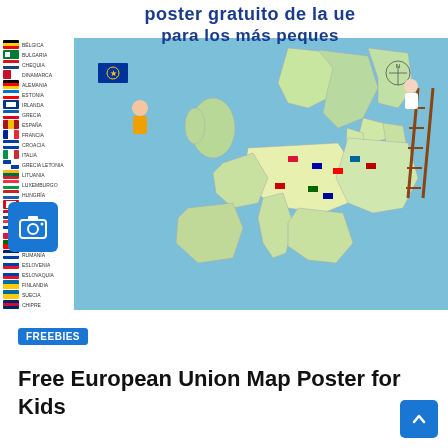[Figure (illustration): A colorful cartoon/illustrated EU map poster titled 'Poster gratuito de la UE para los más peques' (Free EU poster for the youngest). The poster shows a cartoon map of Europe with national flags, landmarks, and characters. On the left side is a vertical strip listing EU member countries with their flags. The map has a blue EU flag being waved by a cartoon child character. A camera icon overlay appears in the lower-left corner.]
FREEBIES
Free European Union Map Poster for Kids